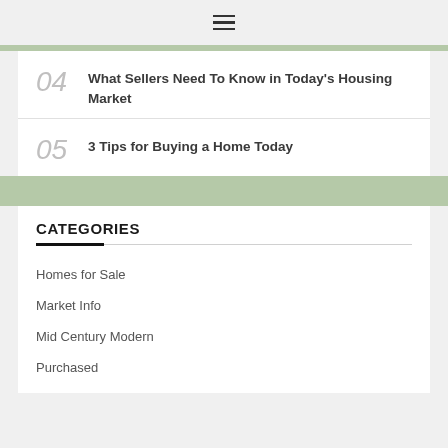≡
04  What Sellers Need To Know in Today's Housing Market
05  3 Tips for Buying a Home Today
CATEGORIES
Homes for Sale
Market Info
Mid Century Modern
Purchased